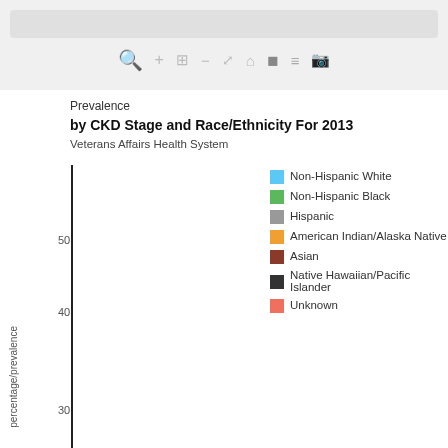[Figure (bar-chart): Grouped bar chart showing prevalence by CKD Stage and Race/Ethnicity for 2013 in the Veterans Affairs Health System. Y-axis shows percentage/prevalence with visible tick marks at 30, 40, 50. Legend shows 7 race/ethnicity categories: Non-Hispanic White (blue), Non-Hispanic Black (green), Hispanic (gray), American Indian/Alaska Native (orange), Asian (brown), Native Hawaiian/Pacific Islander (dark/black), Unknown (salmon/red-orange). Chart is partially cropped; bars and x-axis not visible in this view.]